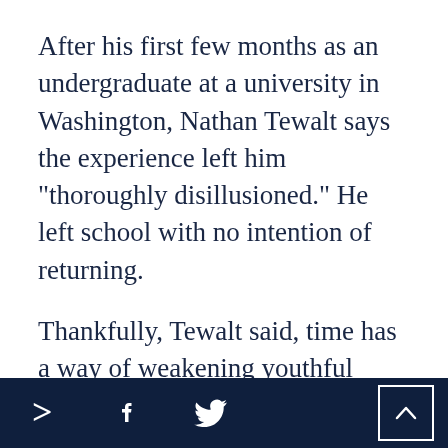After his first few months as an undergraduate at a university in Washington, Nathan Tewalt says the experience left him "thoroughly disillusioned." He left school with no intention of returning.
Thankfully, Tewalt said, time has a way of weakening youthful resolve. The reality of the job market, coupled with a general lack of fulfillment, led him back to higher education. He enrolled at the University of Nevada, Reno, and found
Navigation footer with forward, Facebook, Twitter icons and scroll-to-top button